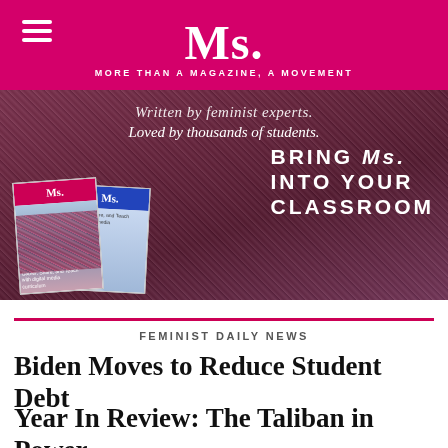Ms. — MORE THAN A MAGAZINE, A MOVEMENT
[Figure (illustration): Ms. Magazine classroom promotion banner. Text reads: 'Written by feminist experts. Loved by thousands of students. BRING Ms. INTO YOUR CLASSROOM' with Ms. magazine covers in the foreground and a crowd background.]
FEMINIST DAILY NEWS
Biden Moves to Reduce Student Debt
Year In Review: The Taliban in Power